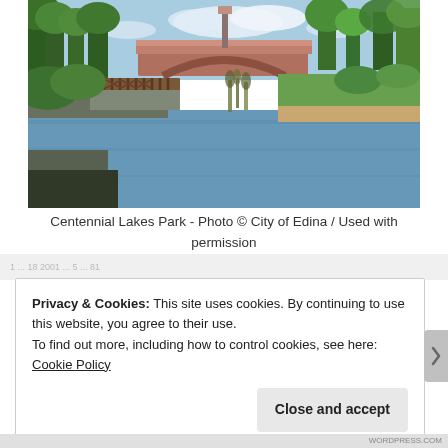[Figure (photo): Photograph of Centennial Lakes Park showing a canal waterway with a brick arch bridge in the background, ornamental iron railing on the left bank, rocky shoreline on the right, and lush green trees under a partly cloudy sky.]
Centennial Lakes Park - Photo © City of Edina / Used with permission
Privacy & Cookies: This site uses cookies. By continuing to use this website, you agree to their use.
To find out more, including how to control cookies, see here: Cookie Policy
Close and accept